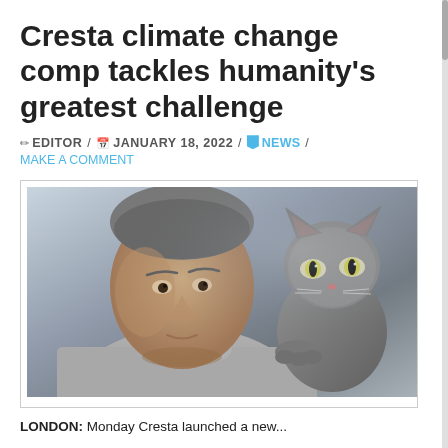Cresta climate change comp tackles humanity's greatest challenge
✏ EDITOR / 📅 JANUARY 18, 2022 / 🔖 NEWS / MAKE A COMMENT
[Figure (photo): A man with grey hair wearing a light turtleneck sweater, with a grey cat sitting on his shoulder, shot against a grey-blue gradient background.]
LONDON: Monday Cresta launched a new...